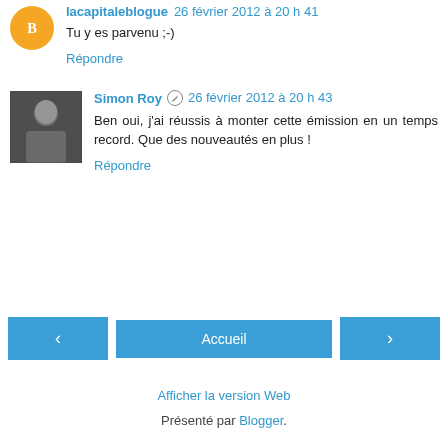lacapitaleblogue 26 février 2012 à 20 h 41
Tu y es parvenu ;-)
Répondre
Simon Roy 26 février 2012 à 20 h 43
Ben oui, j'ai réussis à monter cette émission en un temps record. Que des nouveautés en plus !
Répondre
< Accueil >
Afficher la version Web
Présenté par Blogger.